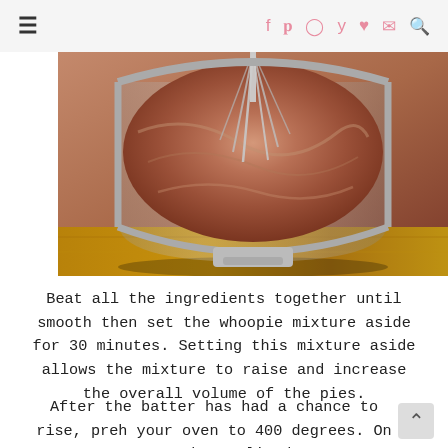≡  f  p  ○  ♥  ✉  🔍
[Figure (photo): Top-down view of a stand mixer bowl containing chocolate whoopie pie batter with a whisk attachment visible, sitting on a wooden surface.]
Beat all the ingredients together until smooth then set the whoopie mixture aside for 30 minutes. Setting this mixture aside allows the mixture to raise and increase the overall volume of the pies.
After the batter has had a chance to rise, preh your oven to 400 degrees. On a parchment lined